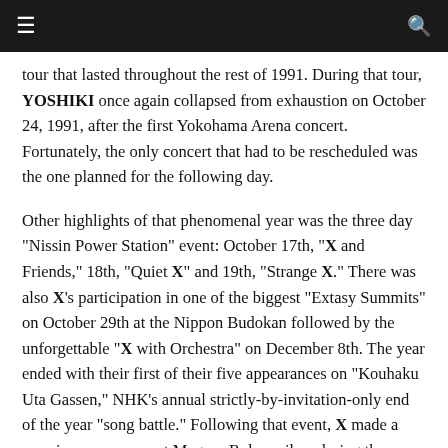≡  🔍
tour that lasted throughout the rest of 1991. During that tour, YOSHIKI once again collapsed from exhaustion on October 24, 1991, after the first Yokohama Arena concert. Fortunately, the only concert that had to be rescheduled was the one planned for the following day.
Other highlights of that phenomenal year was the three day "Nissin Power Station" event: October 17th, "X and Friends," 18th, "Quiet X" and 19th, "Strange X." There was also X's participation in one of the biggest "Extasy Summits" on October 29th at the Nippon Budokan followed by the unforgettable "X with Orchestra" on December 8th. The year ended with their first of their five appearances on "Kouhaku Uta Gassen," NHK's annual strictly-by-invitation-only end of the year "song battle." Following that event, X made a surprise appearance at Meguro Rokumeikan during the countdown of the "All Night Metal Party."
1992 started with an event that was a first for any Japanese group: to completely sell out three consecutive days at Tokyo Dome, with the "Tokyo Dome Three Days – Umatsu ni...